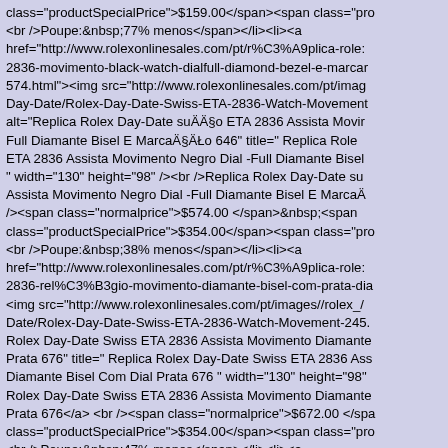class="productSpecialPrice">$159.00</span><span class="pro <br />Poupe:&nbsp;77% menos</span></li><li><a href="http://www.rolexonlinesales.com/pt/r%C3%A9plica-role: 2836-movimento-black-watch-dialfull-diamond-bezel-e-marcan 574.html"><img src="http://www.rolexonlinesales.com/pt/imag Day-Date/Rolex-Day-Date-Swiss-ETA-2836-Watch-Movement alt="Replica Rolex Day-Date suÃÃ§o ETA 2836 Assista Movir Full Diamante Bisel E MarcaÃ§ÃŁo 646" title=" Replica Role ETA 2836 Assista Movimento Negro Dial -Full Diamante Bisel " width="130" height="98" /><br />Replica Rolex Day-Date su Assista Movimento Negro Dial -Full Diamante Bisel E MarcaÃ /><span class="normalprice">$574.00 </span>&nbsp;<span class="productSpecialPrice">$354.00</span><span class="pro <br />Poupe:&nbsp;38% menos</span></li><li><a href="http://www.rolexonlinesales.com/pt/r%C3%A9plica-role: 2836-rel%C3%B3gio-movimento-diamante-bisel-com-prata-dia <img src="http://www.rolexonlinesales.com/pt/images//rolex_/ Date/Rolex-Day-Date-Swiss-ETA-2836-Watch-Movement-245. Rolex Day-Date Swiss ETA 2836 Assista Movimento Diamante Prata 676" title=" Replica Rolex Day-Date Swiss ETA 2836 Ass Diamante Bisel Com Dial Prata 676 " width="130" height="98" Rolex Day-Date Swiss ETA 2836 Assista Movimento Diamante Prata 676</a> <br /><span class="normalprice">$672.00 </spa class="productSpecialPrice">$354.00</span><span class="pro <br />Poupe:&nbsp;47% menos</span></li><li><a